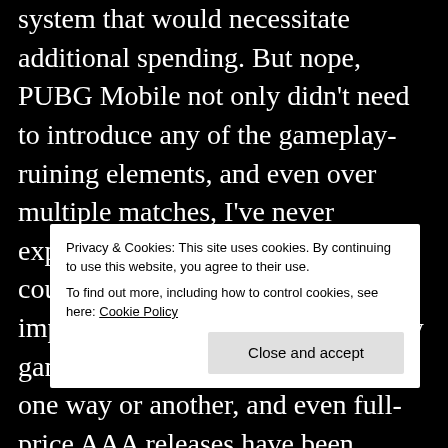system that would necessitate additional spending. But nope, PUBG Mobile not only didn't need to introduce any of the gameplay-ruining elements, and even over multiple matches, I've never experienced a single ad in the course of the game. That is quite impressive, given every free-to-play game tries to exploit the player in one way or another, and even full-price AAA releases have been toying with the idea lately (we all remember the giant Star Wars: Battlefront 2 controversy that was the biggest b... M... t... any annoying elements of free-to-play releases. It's
Privacy & Cookies: This site uses cookies. By continuing to use this website, you agree to their use.
To find out more, including how to control cookies, see here: Cookie Policy
Close and accept